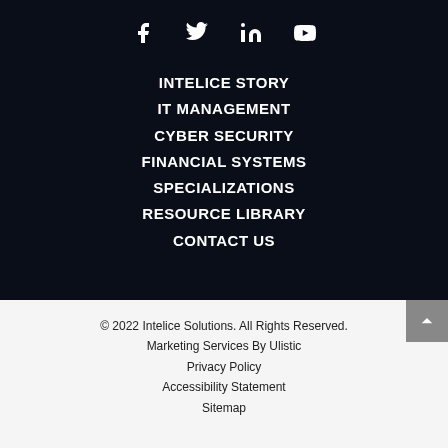[Figure (other): Social media icons: Facebook, Twitter, LinkedIn, YouTube]
INTELICE STORY
IT MANAGEMENT
CYBER SECURITY
FINANCIAL SYSTEMS
SPECIALIZATIONS
RESOURCE LIBRARY
CONTACT US
© 2022 Intelice Solutions. All Rights Reserved.
Marketing Services By Ulistic
Privacy Policy
Accessibility Statement
Sitemap